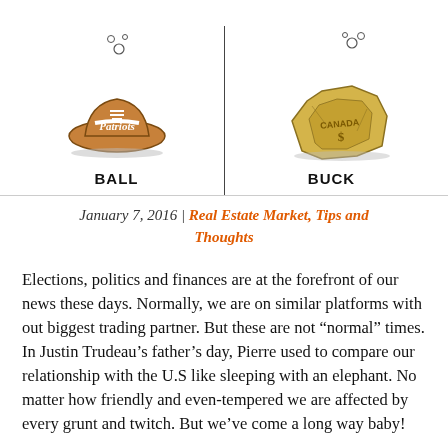[Figure (illustration): Two-panel cartoon illustration. Left panel shows a deflated Patriots football (labeled 'BALL') with bubbles rising from it. Right panel shows a crumpled Canadian dollar bill/buck (labeled 'BUCK') with bubbles rising from it. Both appear deflated/flat as a visual pun.]
January 7, 2016 / Real Estate Market, Tips and Thoughts
Elections, politics and finances are at the forefront of our news these days. Normally, we are on similar platforms with out biggest trading partner. But these are not “normal” times.
In Justin Trudeau’s father’s day, Pierre used to compare our relationship with the U.S like sleeping with an elephant. No matter how friendly and even-tempered we are affected by every grunt and twitch. But we’ve come a long way baby!